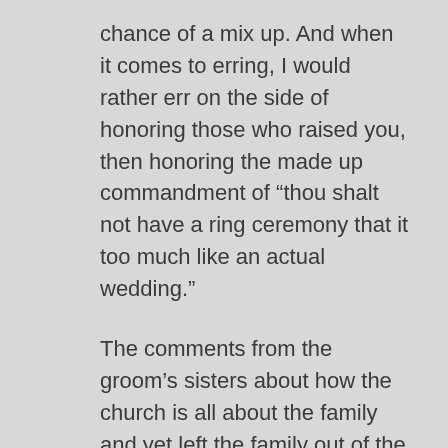chance of a mix up. And when it comes to erring, I would rather err on the side of honoring those who raised you, then honoring the made up commandment of “thou shalt not have a ring ceremony that it too much like an actual wedding.”
The comments from the groom’s sisters about how the church is all about the family and yet left the family out of the wedding certainly stung. I used to rail about this before I got sealed. But then I realized that it would be far more disturbing to have had my parents see me in my temple garb, giving a secret sign to my husband. I actually think it is